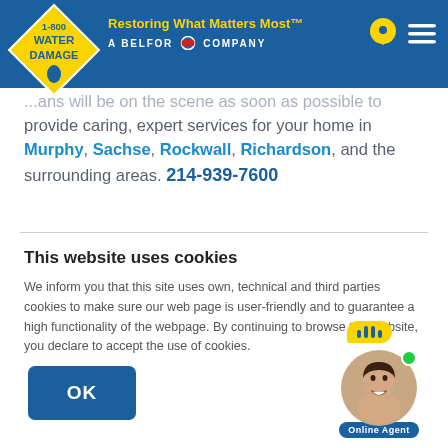[Figure (logo): 1-800 Water Damage logo — yellow diamond shape with blue text '1-800 WATER DAMAGE' and a blue water drop]
Restoring What Matters Most™ — A BELFOR company
...ans will be on the scene as soon as possible to provide caring, expert services for your home in Murphy, Sachse, Rockwall, Richardson, and the surrounding areas. 214-939-7600
This website uses cookies
We inform you that this site uses own, technical and third parties cookies to make sure our web page is user-friendly and to guarantee a high functionality of the webpage. By continuing to browse this website, you declare to accept the use of cookies.
OK
[Figure (photo): Online Agent chat widget with a photo of a smiling woman, a yellow speech bubble with chat bars, a green online dot, and an 'Online Agent' label]